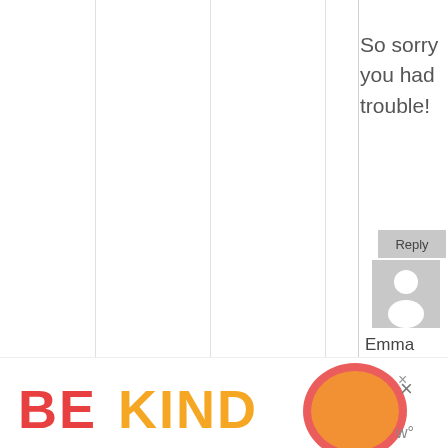So sorry you had trouble!
[Figure (other): Reply button with gray background]
[Figure (other): Gray avatar/person silhouette placeholder image]
Emma
March 1, 2011 at 9:01 am (12 years ago)
[Figure (other): Advertisement banner: BE KIND text in red and orange, with decorative logo graphic, close buttons]